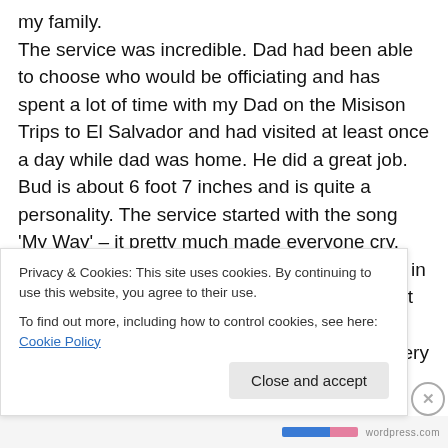my family. The service was incredible. Dad had been able to choose who would be officiating and has spent a lot of time with my Dad on the Misison Trips to El Salvador and had visited at least once a day while dad was home. He did a great job. Bud is about 6 foot 7 inches and is quite a personality. The service started with the song 'My Way' – it pretty much made everyone cry. The service talked about what all he had done in his life and as it was said – 90 minutes was not adequate to talk about everything that he had done. Bud choked up a couple times but did very well
Privacy & Cookies: This site uses cookies. By continuing to use this website, you agree to their use.
To find out more, including how to control cookies, see here: Cookie Policy